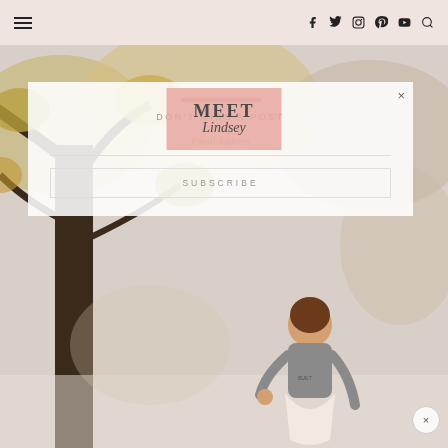Navigation bar with hamburger menu and social icons (Facebook, Twitter, Instagram, Pinterest, YouTube, Search)
[Figure (photo): Outdoor autumn photo of woman standing near large tree with fall foliage, wearing grey top and white skirt]
[Figure (illustration): MEET Lindsey pink badge overlay on photo]
DON'T MISS A POST
Email Address
SUBSCRIBE